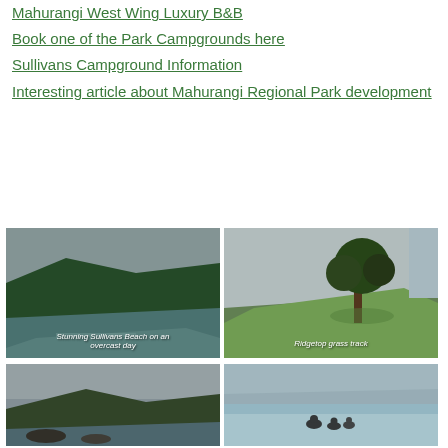Mahurangi West Wing Luxury B&B
Book one of the Park Campgrounds here
Sullivans Campground Information
Interesting article about Mahurangi Regional Park development
[Figure (photo): Scenic estuary and green hills under overcast sky at Sullivans Beach, with caption 'Stunning Sullivans Beach on an overcast day']
[Figure (photo): Large tree on green grassy hill with overcast sky, with caption 'Ridgetop grass track']
[Figure (photo): Coastal landscape with rocky shore and cloudy sky, partially visible]
[Figure (photo): Calm water with birds on rocks and misty hills in background, partially visible]